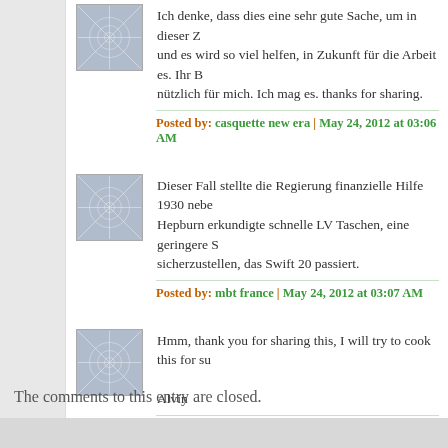Ich denke, dass dies eine sehr gute Sache, um in dieser Z... und es wird so viel helfen, in Zukunft für die Arbeit es. Ihr B... nützlich für mich. Ich mag es. thanks for sharing.
Posted by: casquette new era | May 24, 2012 at 03:06 AM
Dieser Fall stellte die Regierung finanzielle Hilfe 1930 nebe... Hepburn erkundigte schnelle LV Taschen, eine geringere S... sicherzustellen, das Swift 20 passiert.
Posted by: mbt france | May 24, 2012 at 03:07 AM
Hmm, thank you for sharing this, I will try to cook this for su...

Alvin
Posted by: nuvali restaurants | May 25, 2012 at 03:07 AM
Newer »
The comments to this entry are closed.